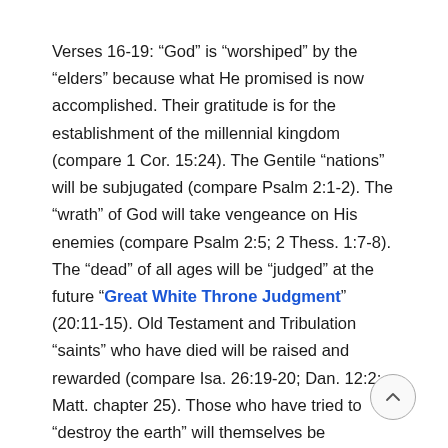Verses 16-19: “God” is “worshiped” by the “elders” because what He promised is now accomplished. Their gratitude is for the establishment of the millennial kingdom (compare 1 Cor. 15:24). The Gentile “nations” will be subjugated (compare Psalm 2:1-2). The “wrath” of God will take vengeance on His enemies (compare Psalm 2:5; 2 Thess. 1:7-8). The “dead” of all ages will be “judged” at the future “Great White Throne Judgment” (20:11-15). Old Testament and Tribulation “saints” who have died will be raised and rewarded (compare Isa. 26:19-20; Dan. 12:2; Matt. chapter 25). Those who have tried to “destroy the earth” will themselves be destroyed by God (compare 19:20-21).